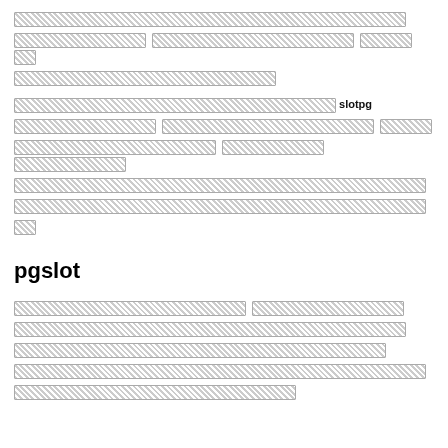[redacted text block - line 1]
[redacted text block - lines 2-3]
[redacted text containing 'slotpg']
[redacted text block - lines 5-9]
pgslot[redacted]
[redacted text block - lines 11-15]